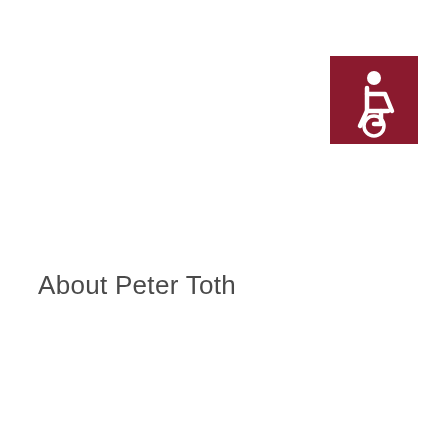[Figure (logo): Dark red/crimson square icon with white wheelchair accessibility symbol (person in wheelchair) centered inside]
About Peter Toth